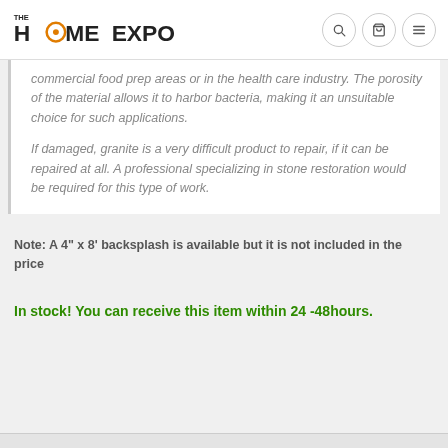THE HOME EXPO
commercial food prep areas or in the health care industry. The porosity of the material allows it to harbor bacteria, making it an unsuitable choice for such applications.

If damaged, granite is a very difficult product to repair, if it can be repaired at all. A professional specializing in stone restoration would be required for this type of work.
Note: A 4" x 8' backsplash is available but it is not included in the price
In stock! You can receive this item within 24 -48hours.